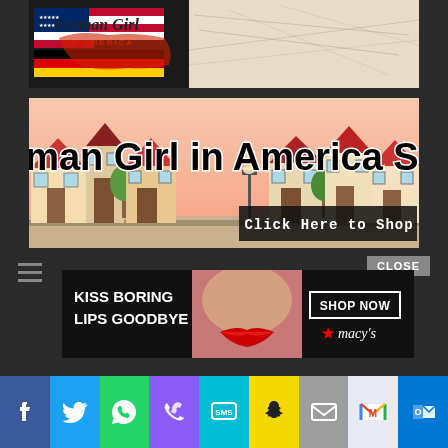[Figure (screenshot): German Girl in America blog header banner with American and German flag graphics, US map silhouette, and a German road map background]
[Figure (screenshot): German Girl in America Shop advertisement banner with illustrated European-style houses/buildings and 'Click Here to Shop' button]
[Figure (screenshot): CLOSE button overlay]
[Figure (screenshot): Macy's advertisement: 'KISS BORING LIPS GOODBYE' with woman's face and red lips, SHOP NOW button, and Macy's star logo]
[Figure (screenshot): Social sharing bar with icons: Facebook, Twitter, WhatsApp, Phone, SMS, Snapchat, Mail, Gmail, Outlook]